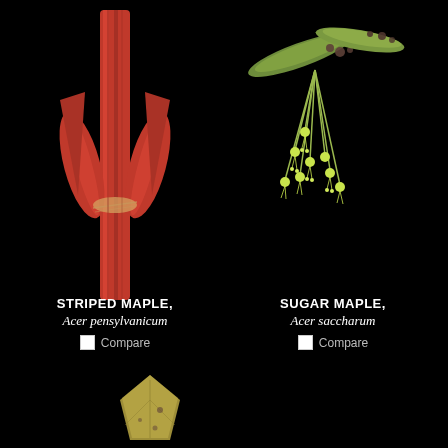[Figure (photo): Close-up photo of Striped Maple (Acer pensylvanicum) red winter buds on a dark black background. The bud is elongated and bright red with pointed tips.]
[Figure (photo): Close-up photo of Sugar Maple (Acer saccharum) flowers/seed pods on a dark black background. Yellow-green hanging flowers with elongated green seed pods with brown spots.]
STRIPED MAPLE,
Acer pensylvanicum
Compare
SUGAR MAPLE,
Acer saccharum
Compare
[Figure (photo): Partial photo of a third maple specimen (bottom), showing a yellowish-tan leaf or seed structure against black background.]